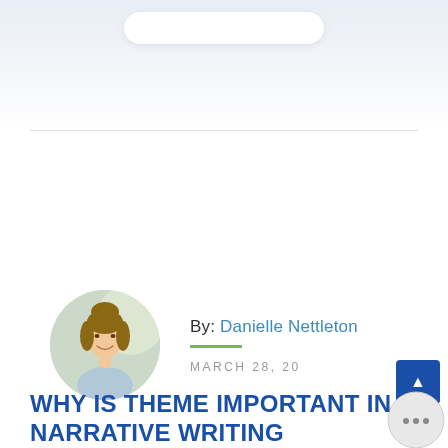[Figure (photo): Circular author photo of Danielle Nettleton, a smiling woman with hair in a bun, wearing a light blue top]
By: Danielle Nettleton
MARCH 28, 20
WHY IS THEME IMPORTANT IN NARRATIVE WRITING